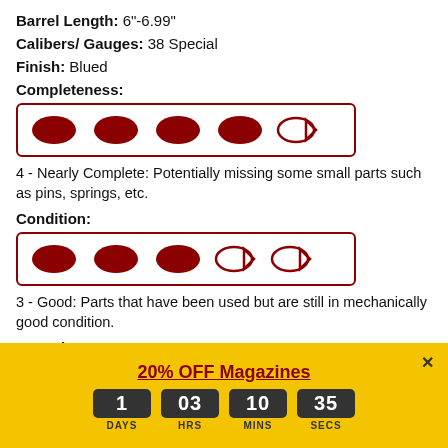Barrel Length: 6"-6.99"
Calibers/ Gauges: 38 Special
Finish: Blued
Completeness:
[Figure (infographic): Rating bar showing 4 out of 5 bullet-shaped icons filled dark red, one outline only]
4 - Nearly Complete: Potentially missing some small parts such as pins, springs, etc.
Condition:
[Figure (infographic): Rating bar showing 3 out of 5 bullet-shaped icons filled dark red, two outlines only]
3 - Good: Parts that have been used but are still in mechanically good condition.
Capacity: 6
NOTE: All items are used unless otherwise indicated. Parts kits are NOT functioning firearms. They are parts kits, sold as-is and include everything
[Figure (infographic): Promotional banner: 20% OFF Magazines with countdown timer showing 1 DAYS, 03 HRS, 10 MINS, 35 SECS]